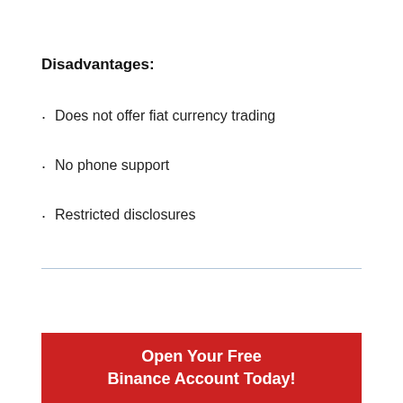Disadvantages:
Does not offer fiat currency trading
No phone support
Restricted disclosures
Open Your Free Binance Account Today!